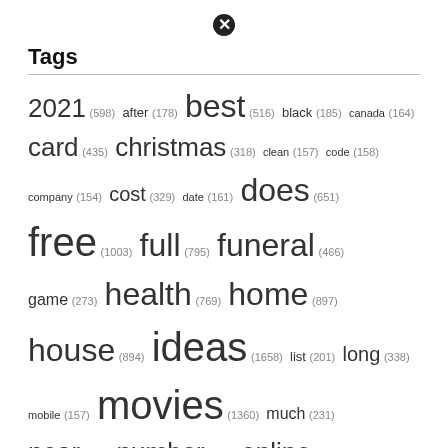[Figure (other): Close/dismiss button icon (circled X)]
Tags
2021 (598) after (178) best (516) black (185) canada (164) card (435) christmas (318) clean (157) code (158) company (154) cost (329) date (161) does (651) free (1003) full (795) funeral (466) game (273) health (769) home (897) house (894) ideas (1658) list (201) long (338) mobile (157) movies (1360) much (231) near (459) number (340) online (505) phone (233) price (283) reddit (219) review (214) service (1369) stock (875) take (195) texas (156) that (.) time (167) tree (905)